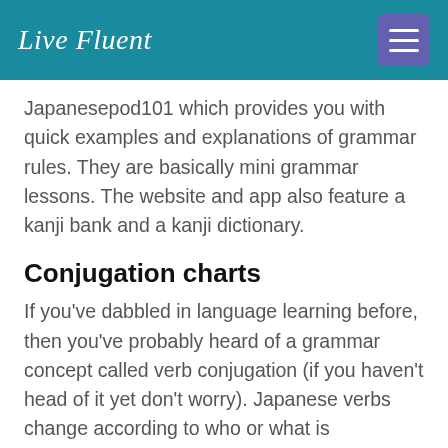Live Fluent
Japanesepod101 which provides you with quick examples and explanations of grammar rules. They are basically mini grammar lessons. The website and app also feature a kanji bank and a kanji dictionary.
Conjugation charts
If you've dabbled in language learning before, then you've probably heard of a grammar concept called verb conjugation (if you haven't head of it yet don't worry). Japanese verbs change according to who or what is